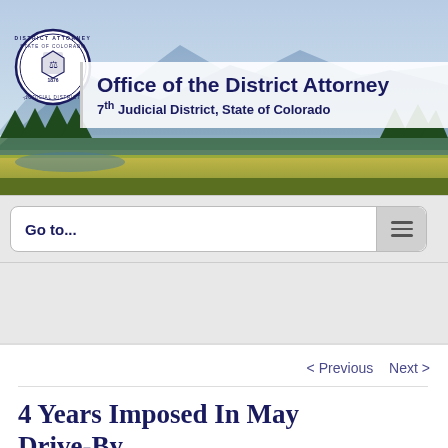[Figure (photo): Colorado mountain landscape banner with blue mountains, pine trees, and golden meadow in foreground serving as header background for the Office of the District Attorney website]
Office of the District Attorney
7th Judicial District, State of Colorado
Go to...
< Previous   Next >
4 Years Imposed In May Drive-By